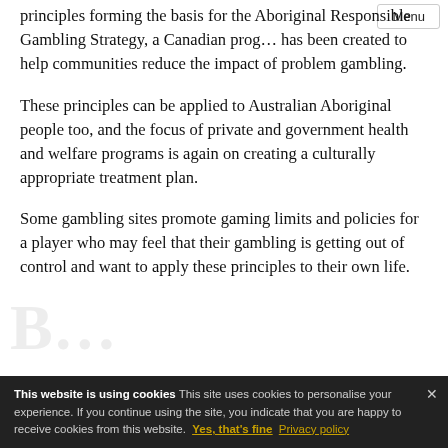principles forming the basis for the Aboriginal Responsible Gambling Strategy, a Canadian program has been created to help communities reduce the impact of problem gambling.
These principles can be applied to Australian Aboriginal people too, and the focus of private and government health and welfare programs is again on creating a culturally appropriate treatment plan.
Some gambling sites promote gaming limits and policies for a player who may feel that their gambling is getting out of control and want to apply these principles to their own life.
This website is using cookies This site uses cookies to personalise your experience. If you continue using the site, you indicate that you are happy to receive cookies from this website. Yes, that's fine Privacy policy